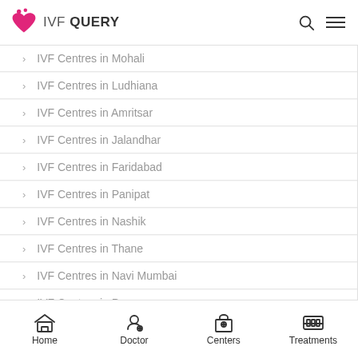IVF QUERY
IVF Centres in Mohali
IVF Centres in Ludhiana
IVF Centres in Amritsar
IVF Centres in Jalandhar
IVF Centres in Faridabad
IVF Centres in Panipat
IVF Centres in Nashik
IVF Centres in Thane
IVF Centres in Navi Mumbai
IVF Centres in Pune
Home | Doctor | Centers | Treatments